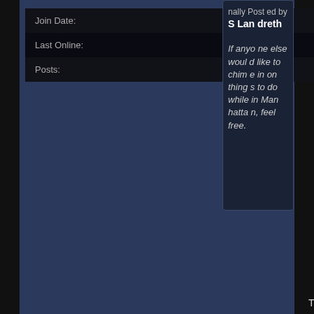| Field | Value |
| --- | --- |
| Join Date: | Nov 2007 |
| Last Online: | @ |
| Posts: | 2,955 |
Originally Posted by S Landreth
If anyone else would like to chime in on things to do while in Manhattan, feel free.
The Brooklyn